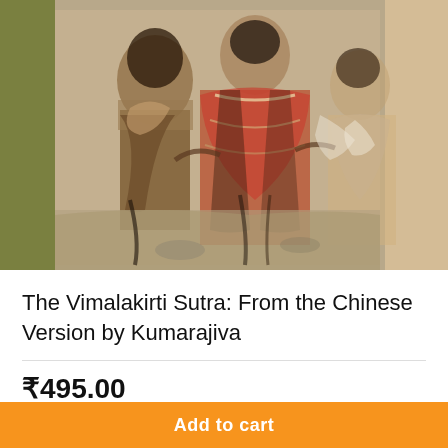[Figure (photo): Book cover showing an ancient fresco or cave painting with robed figures in muted earth tones of orange, brown, grey, and white, set against an olive green background on the left side.]
The Vimalakirti Sutra: From the Chinese Version by Kumarajiva
₹495.00
Sold By: MOTILAL BANARSIDASS PUBLISHING
Add to cart